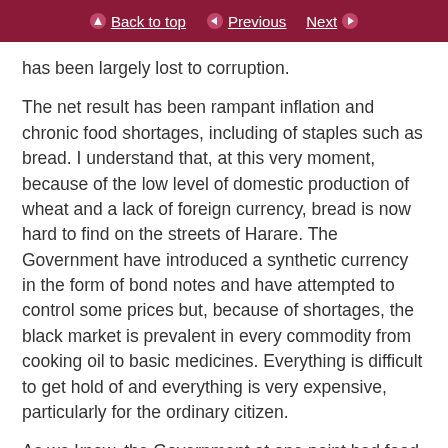Back to top | Previous | Next
has been largely lost to corruption.
The net result has been rampant inflation and chronic food shortages, including of staples such as bread. I understand that, at this very moment, because of the low level of domestic production of wheat and a lack of foreign currency, bread is now hard to find on the streets of Harare. The Government have introduced a synthetic currency in the form of bond notes and have attempted to control some prices but, because of shortages, the black market is prevalent in every commodity from cooking oil to basic medicines. Everything is difficult to get hold of and everything is very expensive, particularly for the ordinary citizen.
As we know, the Government at one point had food...